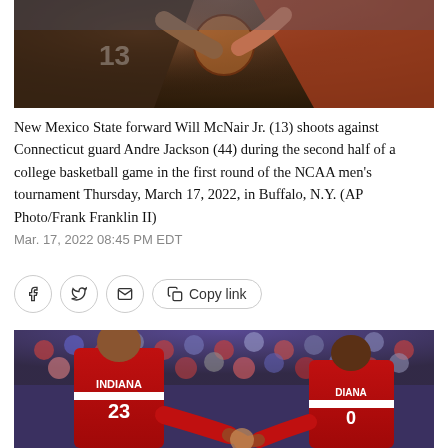[Figure (photo): Basketball players reaching for or handling a ball, partial shot showing jerseys and arms during NCAA tournament game]
New Mexico State forward Will McNair Jr. (13) shoots against Connecticut guard Andre Jackson (44) during the second half of a college basketball game in the first round of the NCAA men's tournament Thursday, March 17, 2022, in Buffalo, N.Y. (AP Photo/Frank Franklin II)
Mar. 17, 2022 08:45 PM EDT
[Figure (photo): Two Indiana Hoosiers basketball players in red uniforms (numbers 23 and 0) giving a high-five or handshake during NCAA tournament game, crowd visible in background]